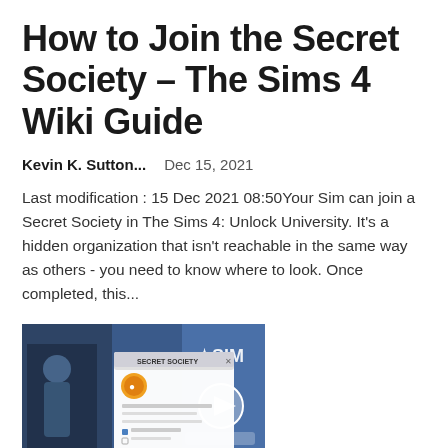How to Join the Secret Society – The Sims 4 Wiki Guide
Kevin K. Sutton...    Dec 15, 2021
Last modification : 15 Dec 2021 08:50Your Sim can join a Secret Society in The Sims 4: Unlock University. It's a hidden organization that isn't reachable in the same way as others - you need to know where to look. Once completed, this...
[Figure (screenshot): Screenshot of The Sims 4 game showing a Secret Society dialog popup with a character and game interface elements including a play button and sidebar options.]
How to Complete the Make Money Scenario in The Sims 4